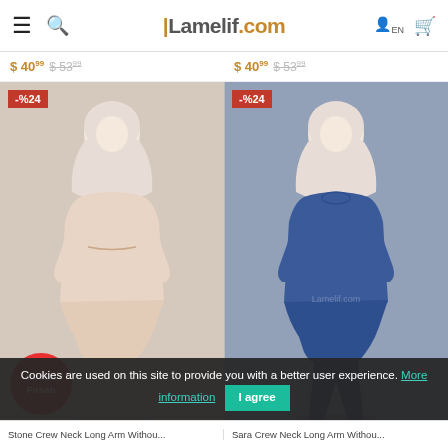Lamelif.com
$40.99  $53.99    $40.99  $53.99
[Figure (photo): Two female models wearing modest fashion outfits. Left model wears a beige/stone asymmetric tunic top with matching trousers and white hijab. Right model wears a blue crew neck long-arm asymmetric top with matching trousers and white hijab. Both have -% 24 discount badges and the left product has a 'Günün Fırsatı' (Deal of the Day) red circle badge.]
Cookies are used on this site to provide you with a better user experience. More information  I agree
Stone Crew Neck Long Arm Withou...    Sara Crew Neck Long Arm Withou...